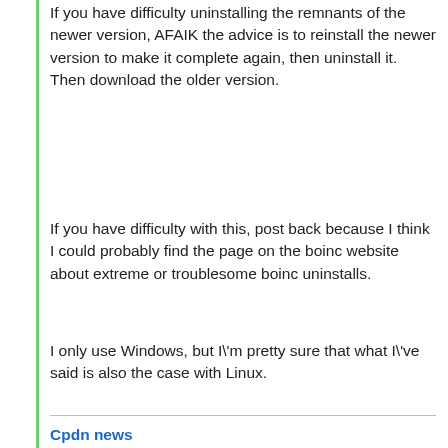If you have difficulty uninstalling the remnants of the newer version, AFAIK the advice is to reinstall the newer version to make it complete again, then uninstall it. Then download the older version.
If you have difficulty with this, post back because I think I could probably find the page on the boinc website about extreme or troublesome boinc uninstalls.
I only use Windows, but I\'m pretty sure that what I\'ve said is also the case with Linux.
Cpdn news